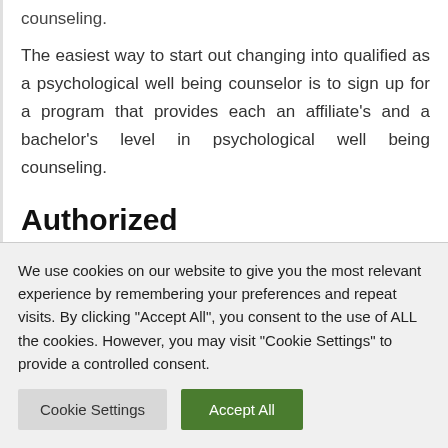counseling.
The easiest way to start out changing into qualified as a psychological well being counselor is to sign up for a program that provides each an affiliate's and a bachelor's level in psychological well being counseling.
Authorized Skilled Counselor (LCP)
After you have graduated the next move in changing into
We use cookies on our website to give you the most relevant experience by remembering your preferences and repeat visits. By clicking "Accept All", you consent to the use of ALL the cookies. However, you may visit "Cookie Settings" to provide a controlled consent.